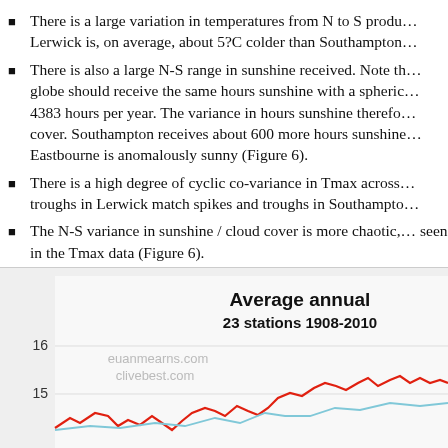There is a large variation in temperatures from N to S produ... Lerwick is, on average, about 5?C colder than Southampton...
There is also a large N-S range in sunshine received. Note th... globe should receive the same hours sunshine with a spheric... 4383 hours per year. The variance in hours sunshine therefo... cover. Southampton receives about 600 more hours sunshine... Eastbourne is anomalously sunny (Figure 6).
There is a high degree of cyclic co-variance in Tmax across... troughs in Lerwick match spikes and troughs in Southampto...
The N-S variance in sunshine / cloud cover is more chaotic,... seen in the Tmax data (Figure 6).
[Figure (line-chart): Partial line chart showing average annual temperature data for 23 stations 1908-2010, with red and light blue lines, y-axis values 15 and 16 visible, watermarked euanmearns.com and clivebest.com]